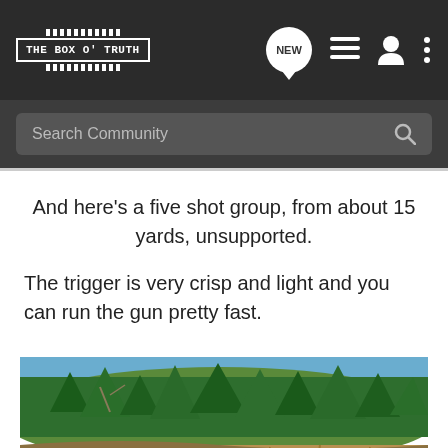THE BOX O' TRUTH — navigation bar with NEW, list, user, and more icons; Search Community bar
And here's a five shot group, from about 15 yards, unsupported.
The trigger is very crisp and light and you can run the gun pretty fast.
[Figure (photo): Outdoor photo showing a hillside with green pine trees against a blue sky, dry grass and brush in foreground, person partially visible at bottom right wearing camouflage]